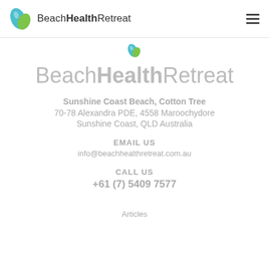BeachHealthRetreat
[Figure (logo): Beach Health Retreat leaf logo icon (teal and green)]
BeachHealthRetreat
Sunshine Coast Beach, Cotton Tree
70-78 Alexandra PDE, 4558 Maroochydore
Sunshine Coast, QLD Australia
EMAIL US
info@beachhealthretreat.com.au
CALL US
+61 (7) 5409 7577
Articles